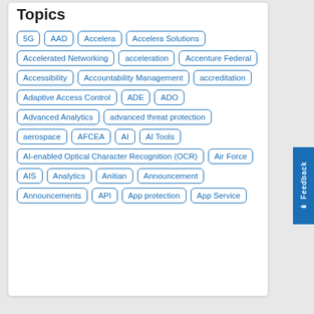Topics
5G
AAD
Accelera
Accelera Solutions
Accelerated Networking
acceleration
Accenture Federal
Accessibility
Accountability Management
accreditation
Adaptive Access Control
ADE
ADO
Advanced Analytics
advanced threat protection
aerospace
AFCEA
AI
AI Tools
AI-enabled Optical Character Recognition (OCR)
Air Force
AIS
Analytics
Anitian
Announcement
Announcements
API
App protection
App Service